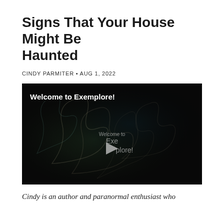Signs That Your House Might Be Haunted
CINDY PARMITER • AUG 1, 2022
[Figure (screenshot): Video player thumbnail showing dark smoky background with text 'Welcome to Exemplore!' and a play button overlay with 'Welcome to Exemplore!' text in center]
Cindy is an author and paranormal enthusiast who